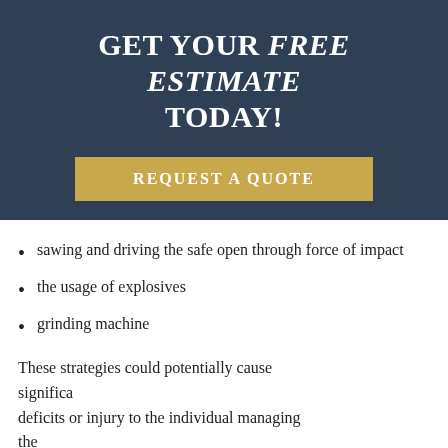GET YOUR FREE ESTIMATE TODAY!
REQUEST A QUOTE
sawing and driving the safe open through force of impact
the usage of explosives
grinding machine
These strategies could potentially cause significant deficits or injury to the individual managing the safe, and must be avoided at all costs.